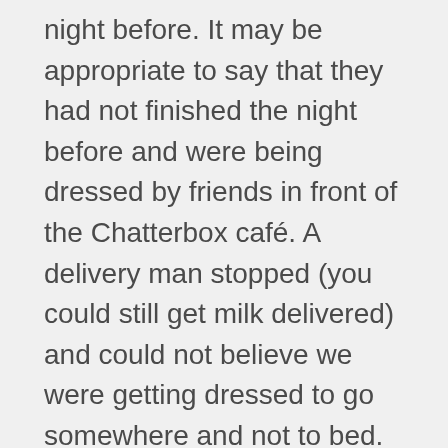night before. It may be appropriate to say that they had not finished the night before and were being dressed by friends in front of the Chatterbox café. A delivery man stopped (you could still get milk delivered) and could not believe we were getting dressed to go somewhere and not to bed. The group was escorted to the bus and the teacher was literally in shock. She tried to comb our hair and tied our ties but it really did not help much. We had not slept in 24 hours and it kind of showed. When we got to the district venue, it was being held in the basement of a church and there was a long ramp down from outside and no stairs. Some of us, who normally would have been in the back row